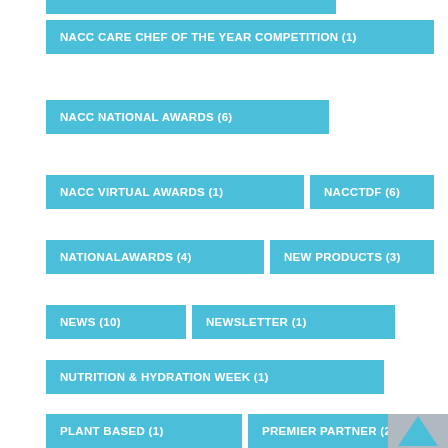NACC CARE CHEF OF THE YEAR COMPETITION (1)
NACC NATIONAL AWARDS (6)
NACC VIRTUAL AWARDS (1)
NACCTDF (6)
NATIONALAWARDS (4)
NEW PRODUCTS (3)
NEWS (10)
NEWSLETTER (1)
NUTRITION (4)
NUTRITION & HYDRATION WEEK (1)
PLANT BASED (1)
PREMIER PARTNER (2)